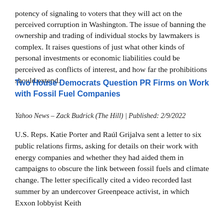potency of signaling to voters that they will act on the perceived corruption in Washington. The issue of banning the ownership and trading of individual stocks by lawmakers is complex. It raises questions of just what other kinds of personal investments or economic liabilities could be perceived as conflicts of interest, and how far the prohibitions should extend.
Two House Democrats Question PR Firms on Work with Fossil Fuel Companies
Yahoo News – Zack Budrick (The Hill) | Published: 2/9/2022
U.S. Reps. Katie Porter and Raúl Grijalva sent a letter to six public relations firms, asking for details on their work with energy companies and whether they had aided them in campaigns to obscure the link between fossil fuels and climate change. The letter specifically cited a video recorded last summer by an undercover Greenpeace activist, in which Exxon lobbyist Keith